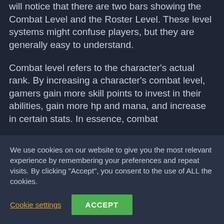will notice that there are two bars showing the Combat Level and the Roster Level. These level systems might confuse players, but they are generally easy to understand.
Combat level refers to the character's actual rank. By increasing a character's combat level, gamers gain more skill points to invest in their abilities, gain more hp and mana, and increase in certain stats. In essence, combat
We use cookies on our website to give you the most relevant experience by remembering your preferences and repeat visits. By clicking "Accept", you consent to the use of ALL the cookies.
Cookie settings
ACCEPT